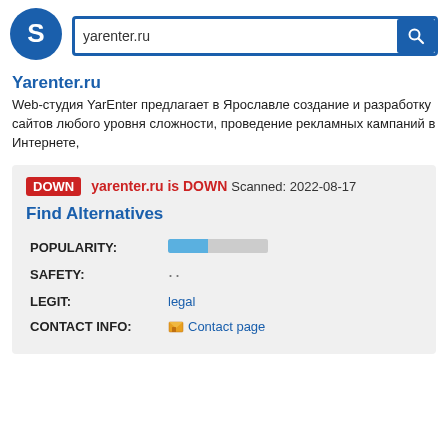[Figure (logo): Blue circle with white letter S logo]
yarenter.ru
Yarenter.ru
Web-студия YarEnter предлагает в Ярославле создание и разработку сайтов любого уровня сложности, проведение рекламных кампаний в Интернете,
DOWN yarenter.ru is DOWN Scanned: 2022-08-17
Find Alternatives
|  |  |
| --- | --- |
| POPULARITY: |  |
| SAFETY: |  |
| LEGIT: | legal |
| CONTACT INFO: | Contact page |